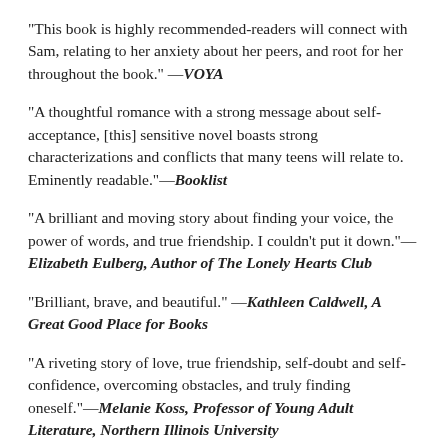"This book is highly recommended-readers will connect with Sam, relating to her anxiety about her peers, and root for her throughout the book." —VOYA
"A thoughtful romance with a strong message about self-acceptance, [this] sensitive novel boasts strong characterizations and conflicts that many teens will relate to. Eminently readable."—Booklist
"A brilliant and moving story about finding your voice, the power of words, and true friendship. I couldn't put it down."—Elizabeth Eulberg, Author of The Lonely Hearts Club
"Brilliant, brave, and beautiful." —Kathleen Caldwell, A Great Good Place for Books
"A riveting story of love, true friendship, self-doubt and self-confidence, overcoming obstacles, and truly finding oneself."—Melanie Koss, Professor of Young Adult Literature, Northern Illinois University
"Romantic, unpredictable, relatable, and so very enjoyable."—Arnold Shapiro, Oscar- and Emmy-winning